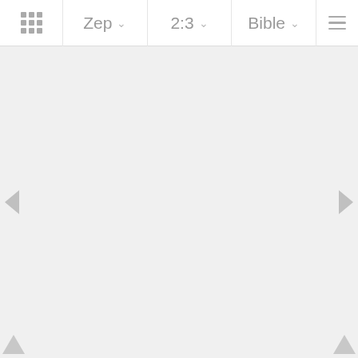[Figure (screenshot): Bible app navigation bar with grid icon, book selector showing 'Zep', chapter selector showing '2:3', version selector showing 'Bible', and hamburger menu icon. Content area is empty/loading with left and right navigation arrows on sides, and up arrows at bottom corners.]